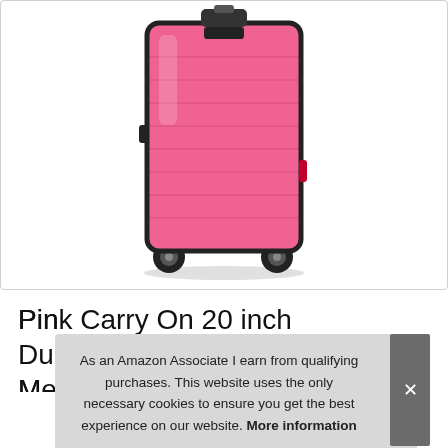[Figure (photo): Pink hard-shell carry-on suitcase with horizontal ribbed lines, black trim, retractable handle, and four spinner wheels, photographed on white background.]
Pink Carry On 20 inch Durable Medium Spinner
As an Amazon Associate I earn from qualifying purchases. This website uses the only necessary cookies to ensure you get the best experience on our website. More information